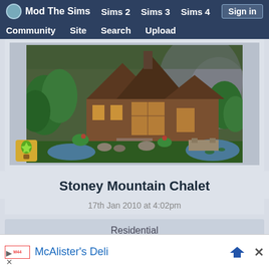Mod The Sims  Sims 2  Sims 3  Sims 4  Sign in  Community  Site  Search  Upload
[Figure (screenshot): Screenshot of a Sims 3 residential lot called Stoney Mountain Chalet, showing a large wooden chalet-style house with steep roofs, surrounded by lush green trees, rocks, and a pond with lily pads. Mountains visible in background.]
Stoney Mountain Chalet
17th Jan 2010 at 4:02pm
Residential
McAlister's Deli